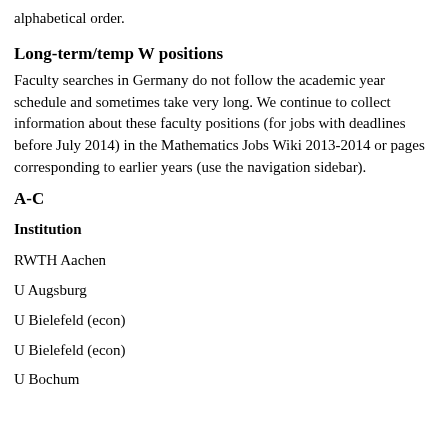alphabetical order.
Long-term/temp W positions
Faculty searches in Germany do not follow the academic year schedule and sometimes take very long. We continue to collect information about these faculty positions (for jobs with deadlines before July 2014) in the Mathematics Jobs Wiki 2013-2014 or pages corresponding to earlier years (use the navigation sidebar).
A-C
Institution
RWTH Aachen
U Augsburg
U Bielefeld (econ)
U Bielefeld (econ)
U Bochum